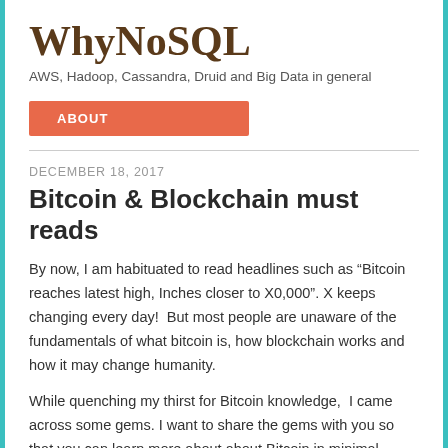WhyNoSQL
AWS, Hadoop, Cassandra, Druid and Big Data in general
ABOUT
DECEMBER 18, 2017
Bitcoin & Blockchain must reads
By now, I am habituated to read headlines such as “Bitcoin reaches latest high, Inches closer to X0,000”. X keeps changing every day!  But most people are unaware of the fundamentals of what bitcoin is, how blockchain works and how it may change humanity.
While quenching my thirst for Bitcoin knowledge,  I came across some gems. I want to share the gems with you so that you can learn more about about Bitcoin in minimal reading/listening or watching.
Continue reading →